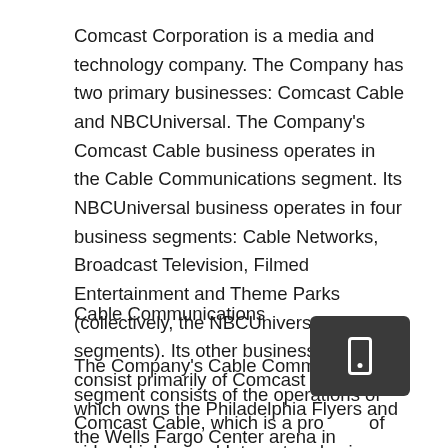Comcast Corporation is a media and technology company. The Company has two primary businesses: Comcast Cable and NBCUniversal. The Company's Comcast Cable business operates in the Cable Communications segment. Its NBCUniversal business operates in four business segments: Cable Networks, Broadcast Television, Filmed Entertainment and Theme Parks (collectively, the NBCUniversal segments). Its other business interests consist primarily of Comcast Spectacor, which owns the Philadelphia Flyers and the Wells Fargo Center arena in Philadelphia, Pennsylvania and operates arena management-related businesses.
Cable Communications
The Company's Cable Communications segment consists of the operations of Comcast Cable, which is a provider of video, high-speed Internet and voice services (cable services) to residential customers under the XFINITY brand. It also